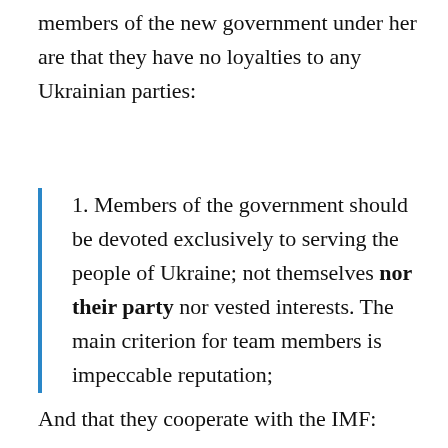members of the new government under her are that they have no loyalties to any Ukrainian parties:
1. Members of the government should be devoted exclusively to serving the people of Ukraine; not themselves nor their party nor vested interests. The main criterion for team members is impeccable reputation;
And that they cooperate with the IMF: